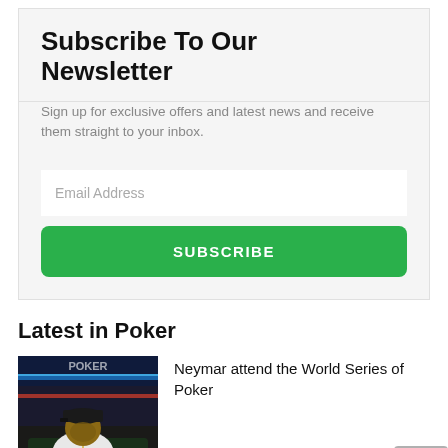Subscribe To Our Newsletter
Sign up for exclusive offers and latest news and receive them straight to your inbox.
Latest in Poker
Neymar attend the World Series of Poker
[Figure (photo): Man in white shirt and black cap sitting at a poker table]